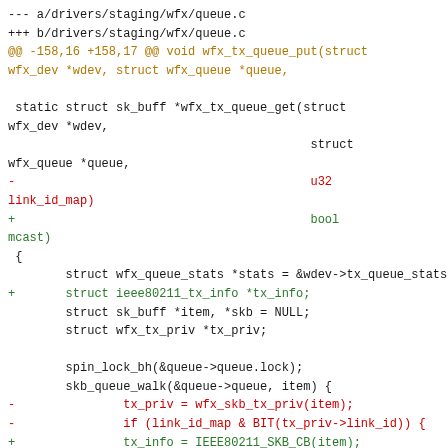[Figure (other): Git diff code snippet showing changes to drivers/staging/wfx/queue.c, modifying the wfx_tx_queue_get function signature and body to replace u32 link_id_map parameter with bool mcast, and updating related logic.]